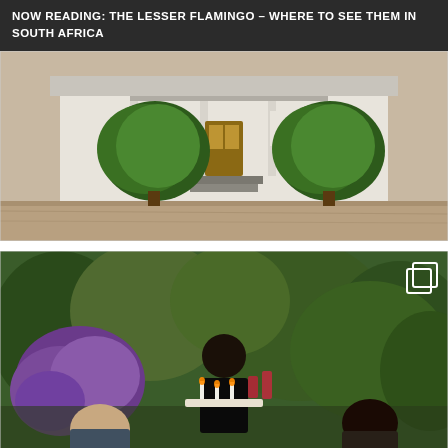NOW READING: THE LESSER FLAMINGO – WHERE TO SEE THEM IN SOUTH AFRICA
[Figure (photo): Exterior photo of a white Cape Dutch-style farmhouse with a covered veranda and glowing interior lights, flanked by two large round topiary bushes on a gravel driveway.]
[Figure (photo): Outdoor dining scene in a garden at dusk. A waiter in a black shirt holds a tray with drinks and candles, serving two seated guests. Purple flowering shrubs and green trees fill the background. A white gallery/copy icon appears in the upper right corner.]